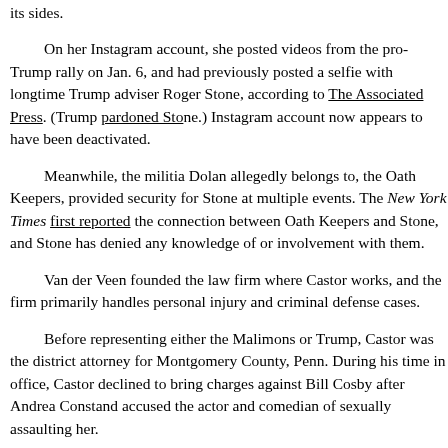its sides.
On her Instagram account, she posted videos from the pro-Trump rally on Jan. 6, and had previously posted a selfie with longtime Trump adviser Roger Stone, according to The Associated Press. (Trump pardoned Stone.) Instagram account now appears to have been deactivated.
Meanwhile, the militia Dolan allegedly belongs to, the Oath Keepers, provided security for Stone at multiple events. The New York Times first reported the connection between Oath Keepers and Stone, and Stone has denied any knowledge of or involvement with them.
Van der Veen founded the law firm where Castor works, and the firm primarily handles personal injury and criminal defense cases.
Before representing either the Malimons or Trump, Castor was the district attorney for Montgomery County, Penn. During his time in office, Castor declined to bring charges against Bill Cosby after Andrea Constand accused the actor and comedian of sexually assaulting her.
Castor's decision was heavily criticized, particularly after additional women accused Cosby of a pattern of sexual misconduct lasting decades. Another prosecutor later brought charges against Cosby related to the assault on Constand, and the jury found Cosby guilty of three counts of aggravated indecent assault against her.
Later, Castor got involved in the second impeachment trial through his legal work. Castor, a Republican attorney who previously helped defend Trump in the first impeachment trial...